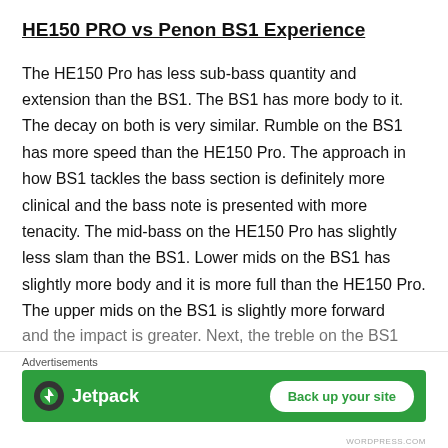HE150 PRO vs Penon BS1 Experience
The HE150 Pro has less sub-bass quantity and extension than the BS1. The BS1 has more body to it. The decay on both is very similar. Rumble on the BS1 has more speed than the HE150 Pro. The approach in how BS1 tackles the bass section is definitely more clinical and the bass note is presented with more tenacity. The mid-bass on the HE150 Pro has slightly less slam than the BS1. Lower mids on the BS1 has slightly more body and it is more full than the HE150 Pro. The upper mids on the BS1 is slightly more forward and the impact is greater. Next, the treble on the BS1
Advertisements
[Figure (other): Jetpack advertisement banner with green background, Jetpack logo on left, and 'Back up your site' button on right]